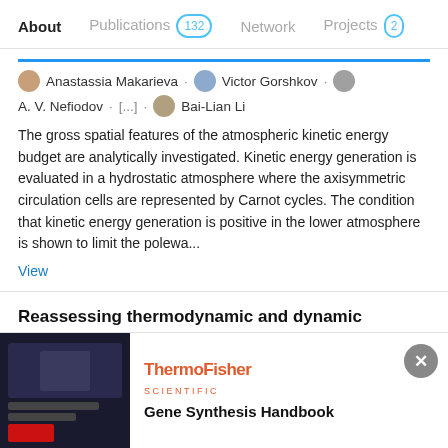About  Publications 132  Network  Projects 2
Anastassia Makarieva · Victor Gorshkov · A. V. Nefiodov · [...] · Bai-Lian Li
The gross spatial features of the atmospheric kinetic energy budget are analytically investigated. Kinetic energy generation is evaluated in a hydrostatic atmosphere where the axisymmetric circulation cells are represented by Carnot cycles. The condition that kinetic energy generation is positive in the lower atmosphere is shown to limit the polewa...
View
Reassessing thermodynamic and dynamic constraints on global wind power
Article  Full-text available  Advertisement
[Figure (other): ThermoFisher Scientific advertisement banner with dark background image on left and Gene Synthesis Handbook title on right]
Gene Synthesis Handbook